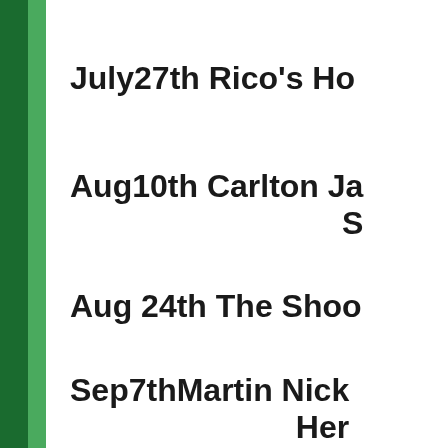July27th Rico's Ho
Aug10th Carlton Ja S
Aug 24th The Shoo
Sep7thMartin Nick Her